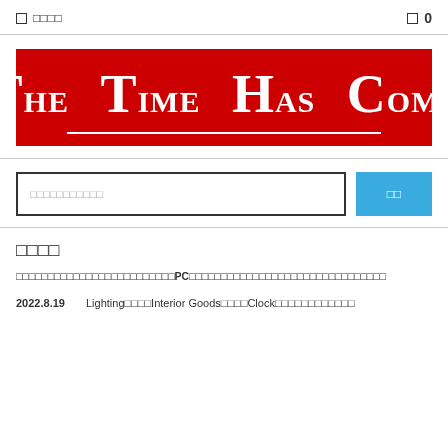□ □□□□ □ 0
[Figure (logo): Red banner logo with white text reading 'The Time Has Come' with drop caps for T, T, H, C and a white underline]
□□□□□□□□□□□□ □□
□□□□
□□□□□□□□□□□□□□□□□□□□□□□□PC□□□□□□□□□□□□□□□□□□□□□□□□□□□□□□□
2022.8.19  Lighting□□□□Interior Goods□□□□Clock□□□□□□□□□□□□